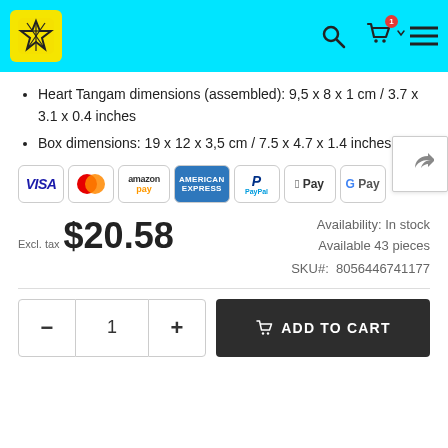Navigation header with logo, search, cart, and menu icons
Heart Tangam dimensions (assembled): 9,5 x 8 x 1 cm / 3.7 x 3.1 x 0.4 inches
Box dimensions: 19 x 12 x 3,5 cm / 7.5 x 4.7 x 1.4 inches
[Figure (other): Payment method icons: VISA, MasterCard, amazon pay, AMERICAN EXPRESS, PayPal, Apple Pay, G Pay]
Excl. tax  $20.58    Availability: In stock  Available 43 pieces
SKU#:  8056446741177